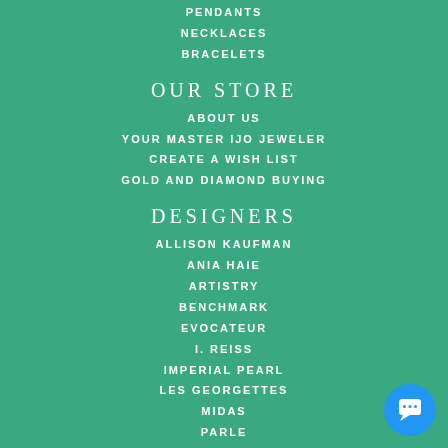PENDANTS
NECKLACES
BRACELETS
OUR STORE
ABOUT US
YOUR MASTER IJO JEWELER
CREATE A WISH LIST
GOLD AND DIAMOND BUYING
DESIGNERS
ALLISON KAUFMAN
ANIA HAIE
ARTISTRY
BENCHMARK
EVOCATEUR
I. REISS
IMPERIAL PEARL
LES GEORGETTES
MIDAS
PARLE